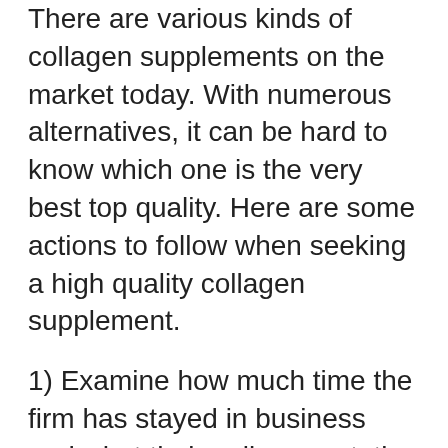There are various kinds of collagen supplements on the market today. With numerous alternatives, it can be hard to know which one is the very best top quality. Here are some actions to follow when seeking a high quality collagen supplement.
1) Examine how much time the firm has stayed in business and what their online reputation is like.
2) Take a look at the components and also make sure they have something that will certainly help your requirements (i.e., kind 1, type 2, type 3).
3) Inspect if there are any fillers or various other ingredients that could not be as